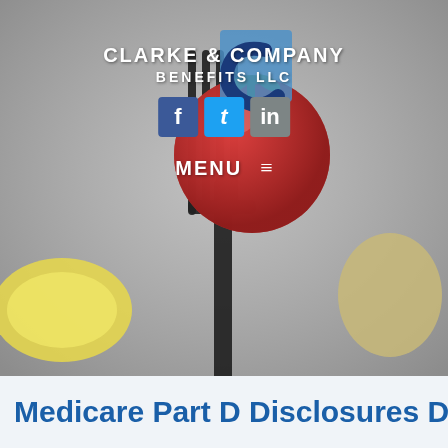[Figure (photo): Background photo of food items including a tomato on a fork, lemon slice, and potato on a gray background]
[Figure (logo): Clarke & Company Benefits LLC logo — blue circular C shape with Clarke & Company Benefits LLC text in white below it, social media icons (Facebook, Twitter, LinkedIn), and MENU navigation bar]
Medicare Part D Disclosures Due